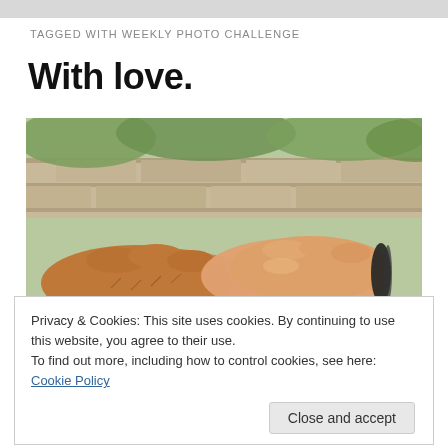TAGGED WITH WEEKLY PHOTO CHALLENGE
With love.
[Figure (photo): Two hands holding each other — an older hand with visible hair and a younger smooth hand wearing a black bracelet, against a stone wall background with green foliage.]
Privacy & Cookies: This site uses cookies. By continuing to use this website, you agree to their use.
To find out more, including how to control cookies, see here: Cookie Policy
Close and accept